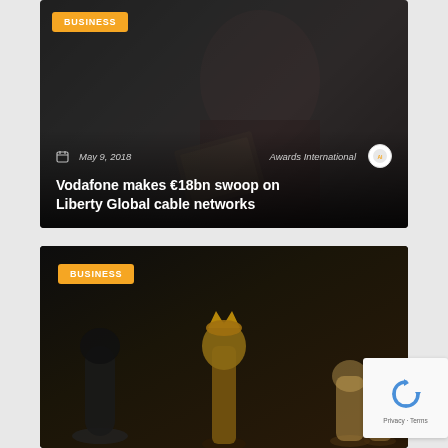[Figure (photo): Dark-toned news article card with business badge showing a person in dark clothing, with date May 9, 2018 and source Awards International, for Vodafone article]
BUSINESS
May 9, 2018
Awards International
Vodafone makes €18bn swoop on Liberty Global cable networks
[Figure (photo): Dark-toned news article card with business badge showing chess pieces including a king piece in the center]
BUSINESS